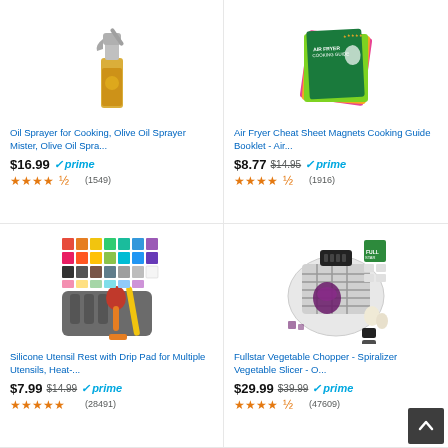[Figure (photo): Oil sprayer bottle with olive oil inside]
Oil Sprayer for Cooking, Olive Oil Sprayer Mister, Olive Oil Spra...
$16.99 prime (1549)
[Figure (photo): Air Fryer Cheat Sheet Magnets Cooking Guide Booklet]
Air Fryer Cheat Sheet Magnets Cooking Guide Booklet - Air...
$8.77 $14.95 prime (1916)
[Figure (photo): Silicone utensil rest with drip pad and colorful squares]
Silicone Utensil Rest with Drip Pad for Multiple Utensils, Heat-...
$7.99 $14.99 prime (28491)
[Figure (photo): Fullstar Vegetable Chopper Spiralizer in open case with onion]
Fullstar Vegetable Chopper - Spiralizer Vegetable Slicer - O...
$29.99 $39.99 prime (47609)